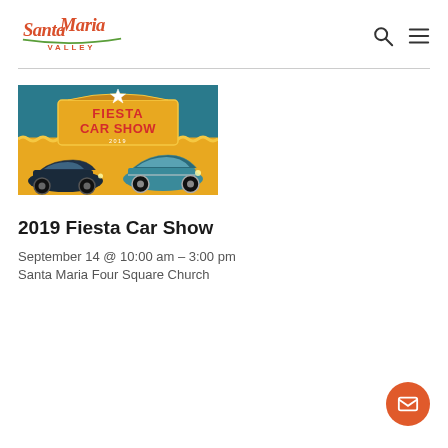Santa Maria Valley
[Figure (illustration): Fiesta Car Show event banner with teal background, gold ornate sign reading 'FIESTA CAR SHOW', and two vintage classic cars (black muscle car on left, teal classic car on right)]
2019 Fiesta Car Show
September 14 @ 10:00 am – 3:00 pm
Santa Maria Four Square Church